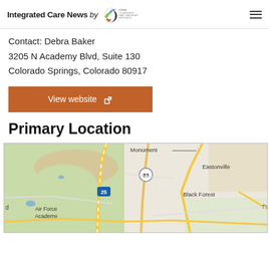Integrated Care News by CFHA – Collaborative Family Healthcare Association
Contact: Debra Baker
3205 N Academy Blvd, Suite 130
Colorado Springs, Colorado 80917
View website ↗
Primary Location
[Figure (map): Google map showing area north of Colorado Springs including Monument, Black Forest, Eastonville, Air Force Academy, and intersecting highways 25 and 83]